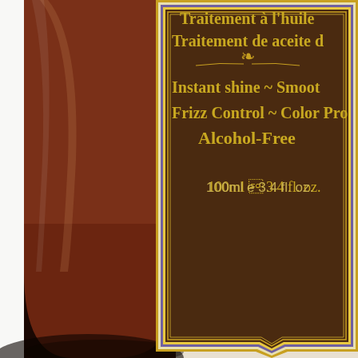[Figure (photo): Close-up photo of the lower-left portion of a dark amber glass bottle with a decorative brown and gold label. The label shows partial text in gold lettering: 'Traitement à l'huile...' (cut off), 'Traitement de aceite d...' (cut off), a decorative scroll ornament, 'Instant shine ~ Smoot...' (cut off), 'Frizz Control ~ Color Pro...' (cut off), 'Alcohol-Free', and '100ml e 3.4 fl. oz.' The label has a decorative border with gold, yellow, white, and blue/purple lines forming an ornate frame with a pointed bottom. The bottle is a rich reddish-brown amber color.]